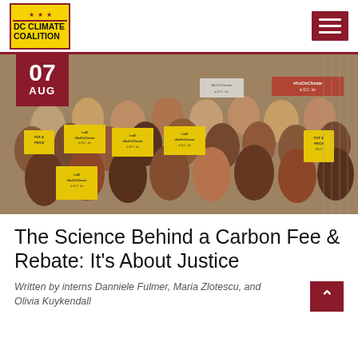[Figure (logo): DC Climate Coalition logo - yellow box with red border, stars, and bold text]
[Figure (photo): Group photo of activists holding yellow signs reading 'PUT A PRICE' and '#ActOnClimate in D.C. for' at a climate advocacy event]
The Science Behind a Carbon Fee & Rebate: It’s About Justice
Written by interns Danniele Fulmer, Maria Zlotescu, and Olivia Kuykendall